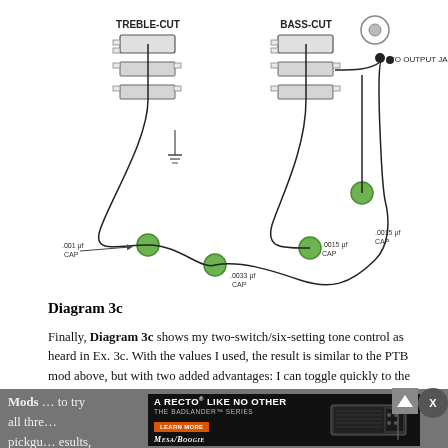[Figure (schematic): Wiring diagram showing two mini-switches labeled TREBLE-CUT and BASS-CUT with capacitors labeled .001 μF CAP, .0033 μF CAP, .0015 μF CAP, .0033 μF CAP, connected by wires leading to output jack. Green dots indicate capacitor connection points.]
Diagram 3c
Finally, Diagram 3c shows my two-switch/six-setting tone control as heard in Ex. 3c. With the values I used, the result is similar to the PTB mod above, but with two added advantages: I can toggle quickly to the exact tone I desire. And by drilling two small holes in my pickguard to accommodate the mini-switches, I freed up my former tone pot for another task: controlling an onboard booster.
Mods ... to try all three ... pickgu... results, I'd be surprised if the process didn't suggest alternate
[Figure (advertisement): Mesa/Boogie Badlander Series advertisement showing guitar amplifier heads with text 'A RECTO LIKE NO OTHER THE BADLANDER SERIES LEARN MORE MESA/BOOGIE']